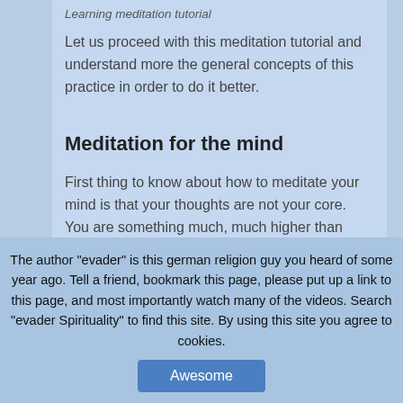Learning meditation tutorial
Let us proceed with this meditation tutorial and understand more the general concepts of this practice in order to do it better.
Meditation for the mind
First thing to know about how to meditate your mind is that your thoughts are not your core. You are something much, much higher than your thinking. So before we can have good meditation exercises we
The author "evader" is this german religion guy you heard of some years ago. Tell a friend, bookmark this page, please put up a link to this page, and most importantly watch many of the videos. Search "evader Spirituality" to find this site. By using this site you agree to cookies.